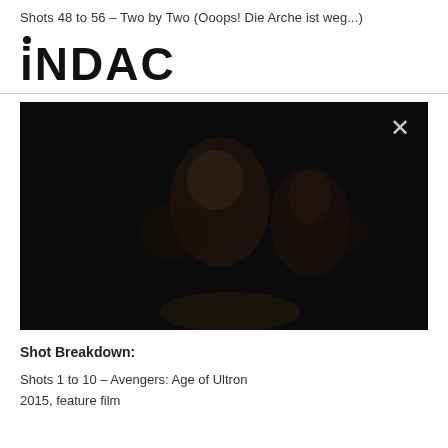Shots 48 to 56 – Two by Two (Ooops! Die Arche ist weg...)
[Figure (logo): iNDAC logo in bold black sans-serif typeface with a dot above the lowercase i]
[Figure (photo): Very dark, nearly black film still showing faint silhouettes of figures, with a white X close button in the top right corner]
Shot Breakdown:
Shots 1 to 10 – Avengers: Age of Ultron
2015, feature film